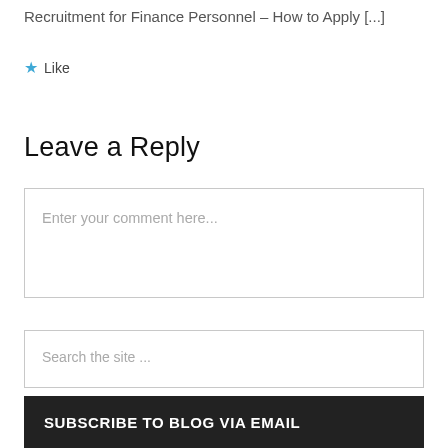Recruitment for Finance Personnel – How to Apply [...]
★ Like
Leave a Reply
Enter your comment here...
Search the site ...
SUBSCRIBE TO BLOG VIA EMAIL